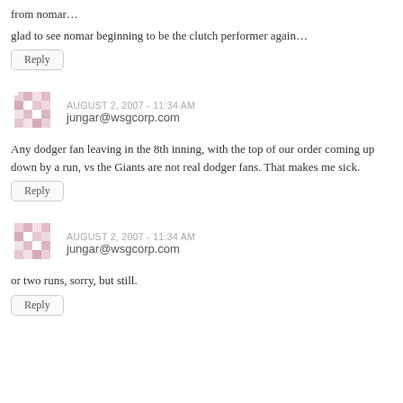from nomar…
glad to see nomar beginning to be the clutch performer again…
Reply
AUGUST 2, 2007 - 11:34 AM
jungar@wsgcorp.com
Any dodger fan leaving in the 8th inning, with the top of our order coming up down by a run, vs the Giants are not real dodger fans. That makes me sick.
Reply
AUGUST 2, 2007 - 11:34 AM
jungar@wsgcorp.com
or two runs, sorry, but still.
Reply